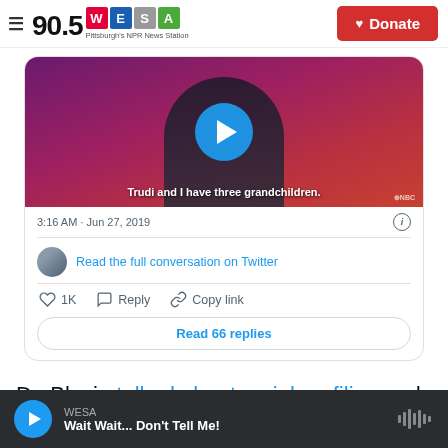90.5 WESA — Pittsburgh's NPR News Station | Donate
[Figure (screenshot): Embedded tweet showing a video thumbnail of a man in a suit with a play button overlay. Video caption reads: 'Trudi and I have three grandchildren.' Timestamp: 3:16 AM · Jun 27, 2019. Avatar and link: 'Read the full conversation on Twitter'. Actions: 1K likes, Reply, Copy link. Button: Read 66 replies.]
De Blasio talked about racial profiling and gun
WESA — Wait Wait... Don't Tell Me!